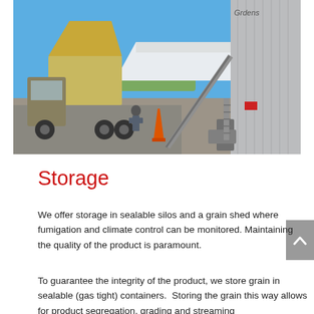[Figure (photo): A grain storage facility with a large corrugated metal silo on the right displaying 'Grains' branding, a white peaked shed roof in the centre, a grain auger/conveyor angled upward towards the silo, and a large truck with tipping tray on the left. A worker stands near the truck and there is an orange traffic cone visible. Blue sky background.]
Storage
We offer storage in sealable silos and a grain shed where fumigation and climate control can be monitored. Maintaining the quality of the product is paramount.
To guarantee the integrity of the product, we store grain in sealable (gas tight) containers.  Storing the grain this way allows for product segregation, grading and streaming which ultimately commands higher returns for our consignors.